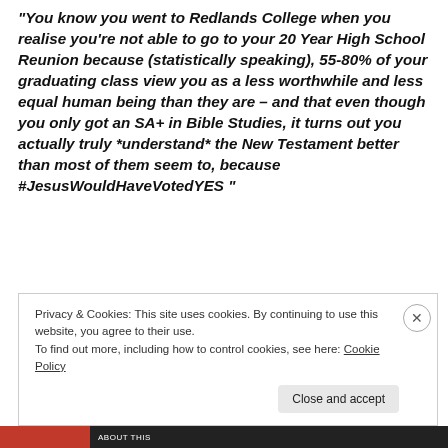“You know you went to Redlands College when you realise you’re not able to go to your 20 Year High School Reunion because (statistically speaking), 55-80% of your graduating class view you as a less worthwhile and less equal human being than they are – and that even though you only got an SA+ in Bible Studies, it turns out you actually truly *understand* the New Testament better than most of them seem to, because #JesusWouldHaveVotedYES “
Privacy & Cookies: This site uses cookies. By continuing to use this website, you agree to their use.
To find out more, including how to control cookies, see here: Cookie Policy